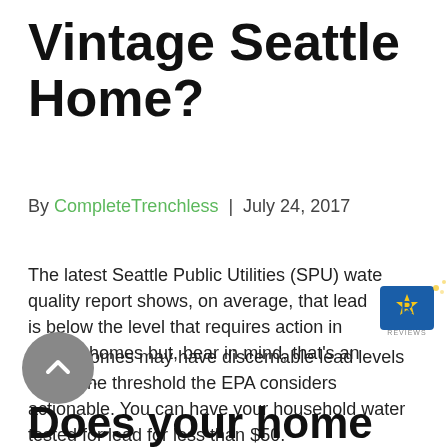Vintage Seattle Home?
By CompleteTrenchless | July 24, 2017
The latest Seattle Public Utilities (SPU) water quality report shows, on average, that lead is below the level that requires action in Seattle homes but, bear in mind, that's an average.
Some homes may have discernable lead levels above the threshold the EPA considers actionable. You can have your household water tested for lead for less than $50.
Does your home have